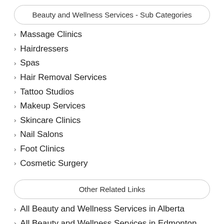Beauty and Wellness Services - Sub Categories
Massage Clinics
Hairdressers
Spas
Hair Removal Services
Tattoo Studios
Makeup Services
Skincare Clinics
Nail Salons
Foot Clinics
Cosmetic Surgery
Other Related Links
All Beauty and Wellness Services in Alberta
All Beauty and Wellness Services in Edmonton
All Beauty and Wellness Services in Canada